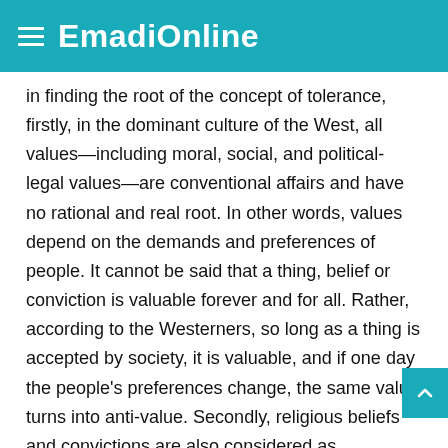EmadiOnline
in finding the root of the concept of tolerance, firstly, in the dominant culture of the West, all values—including moral, social, and political-legal values—are conventional affairs and have no rational and real root. In other words, values depend on the demands and preferences of people. It cannot be said that a thing, belief or conviction is valuable forever and for all. Rather, according to the Westerners, so long as a thing is accepted by society, it is valuable, and if one day the people's preferences change, the same value turns into anti-value. Secondly, religious beliefs and convictions are also considered as conventional values and a person is deemed free in choosing or rejecting them.